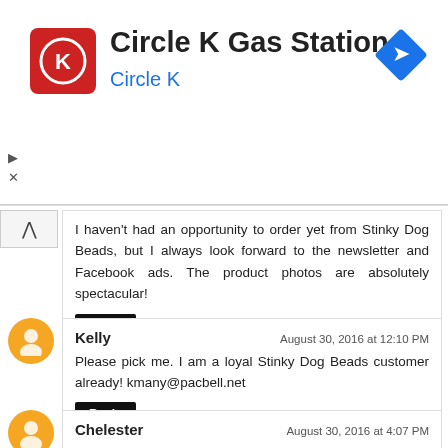[Figure (logo): Circle K Gas Station advertisement banner with red Circle K logo, bold title text 'Circle K Gas Station', blue subtitle 'Circle K', and a blue diamond-shaped navigation icon on the right]
I haven't had an opportunity to order yet from Stinky Dog Beads, but I always look forward to the newsletter and Facebook ads. The product photos are absolutely spectacular!
Reply
Kelly
August 30, 2016 at 12:10 PM
Please pick me. I am a loyal Stinky Dog Beads customer already! kmany@pacbell.net
Reply
Chelester
August 30, 2016 at 4:07 PM
Love Stinky Dog Beads! Always a fun selection!